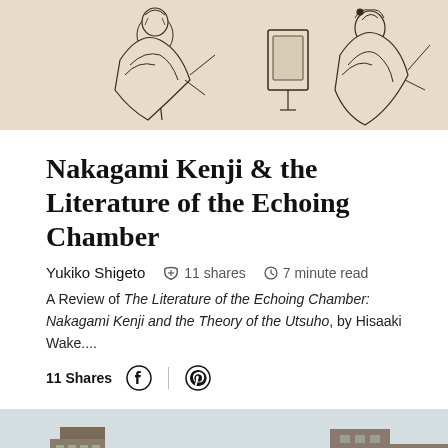[Figure (illustration): Japanese woodblock print illustration showing figures in traditional robes, line art on beige background]
Nakagami Kenji & the Literature of the Echoing Chamber
Yukiko Shigeto   11 shares   7 minute read
A Review of The Literature of the Echoing Chamber: Nakagami Kenji and the Theory of the Utsuho, by Hisaaki Wake....
11 Shares
[Figure (photo): Photograph of apartment buildings under a pale sky, urban scene with multiple residential blocks]